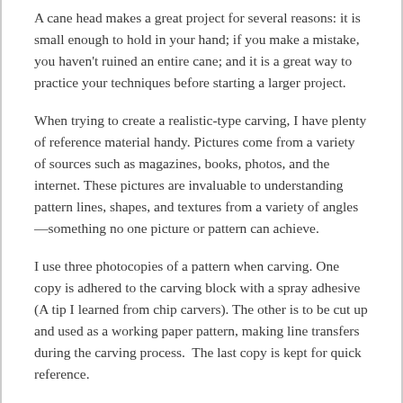A cane head makes a great project for several reasons: it is small enough to hold in your hand; if you make a mistake, you haven't ruined an entire cane; and it is a great way to practice your techniques before starting a larger project.
When trying to create a realistic-type carving, I have plenty of reference material handy. Pictures come from a variety of sources such as magazines, books, photos, and the internet. These pictures are invaluable to understanding pattern lines, shapes, and textures from a variety of angles—something no one picture or pattern can achieve.
I use three photocopies of a pattern when carving. One copy is adhered to the carving block with a spray adhesive (A tip I learned from chip carvers). The other is to be cut up and used as a working paper pattern, making line transfers during the carving process.  The last copy is kept for quick reference.